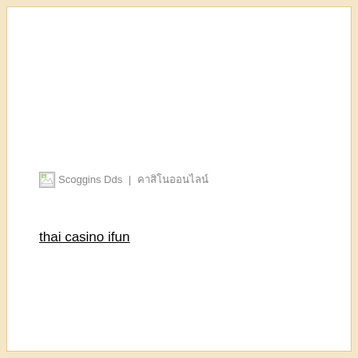[Figure (other): Broken image icon followed by text: Scoggins Dds | Thai characters (broken image placeholder in a web page)]
thai casino ifun